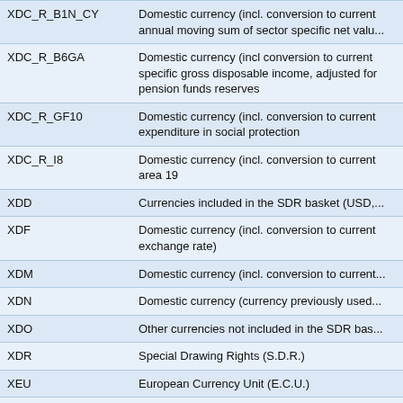| Code | Description |
| --- | --- |
| XDC_R_B1N_CY | Domestic currency (incl. conversion to current annual moving sum of sector specific net valu... |
| XDC_R_B6GA | Domestic currency (incl conversion to current specific gross disposable income, adjusted for pension funds reserves |
| XDC_R_GF10 | Domestic currency (incl. conversion to current expenditure in social protection |
| XDC_R_I8 | Domestic currency (incl. conversion to current area 19 |
| XDD | Currencies included in the SDR basket (USD,... |
| XDF | Domestic currency (incl. conversion to current exchange rate) |
| XDM | Domestic currency (incl. conversion to current... |
| XDN | Domestic currency (currency previously used... |
| XDO | Other currencies not included in the SDR bas... |
| XDR | Special Drawing Rights (S.D.R.) |
| XEU | European Currency Unit (E.C.U.) |
| XFO | Gold-Franc |
| XFU | UIC-Franc |
| XGO | Gold fine troy ounces |
| XNC | Euro area non-participating foreign currency |